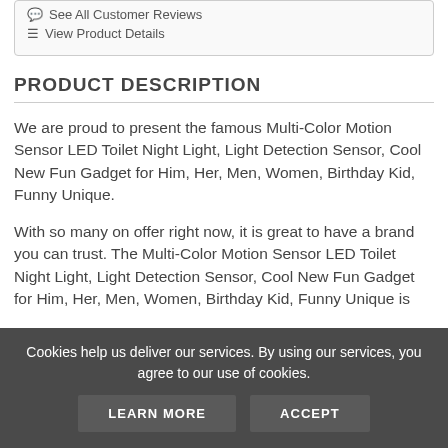See All Customer Reviews
View Product Details
PRODUCT DESCRIPTION
We are proud to present the famous Multi-Color Motion Sensor LED Toilet Night Light, Light Detection Sensor, Cool New Fun Gadget for Him, Her, Men, Women, Birthday Kid, Funny Unique.
With so many on offer right now, it is great to have a brand you can trust. The Multi-Color Motion Sensor LED Toilet Night Light, Light Detection Sensor, Cool New Fun Gadget for Him, Her, Men, Women, Birthday Kid, Funny Unique is
Cookies help us deliver our services. By using our services, you agree to our use of cookies.
LEARN MORE
ACCEPT